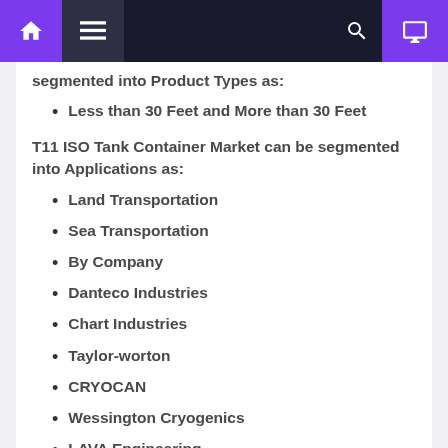Navigation bar
segmented into Product Types as:
Less than 30 Feet and More than 30 Feet
T11 ISO Tank Container Market can be segmented into Applications as:
Land Transportation
Sea Transportation
By Company
Danteco Industries
Chart Industries
Taylor-worton
CRYOCAN
Wessington Cryogenics
LAVA Engineering